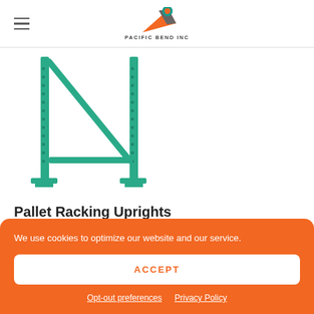PACIFIC BEND INC
[Figure (photo): Green pallet racking uprights / frame structure — two vertical perforated steel columns connected by diagonal and horizontal cross-braces, with base plates at the bottom.]
Pallet Racking Uprights
We use cookies to optimize our website and our service.
ACCEPT
Opt-out preferences   Privacy Policy